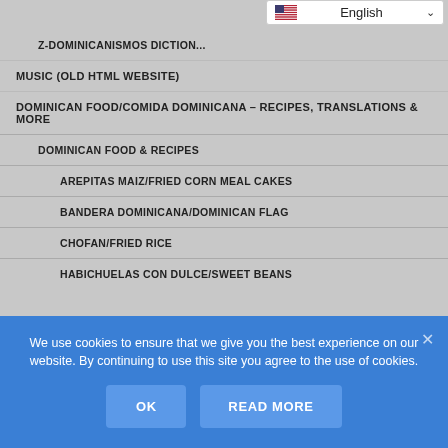[Figure (screenshot): Language selector widget showing US flag, 'English' text, and dropdown chevron]
Z-DOMINICANISMOS DICTION...
MUSIC (OLD HTML WEBSITE)
DOMINICAN FOOD/COMIDA DOMINICANA – RECIPES, TRANSLATIONS & MORE
DOMINICAN FOOD & RECIPES
AREPITAS MAIZ/FRIED CORN MEAL CAKES
BANDERA DOMINICANA/DOMINICAN FLAG
CHOFAN/FRIED RICE
HABICHUELAS CON DULCE/SWEET BEANS
We use cookies to ensure that we give you the best experience on our website. By continuing to use this site you agree to the use of cookies.
OK | READ MORE